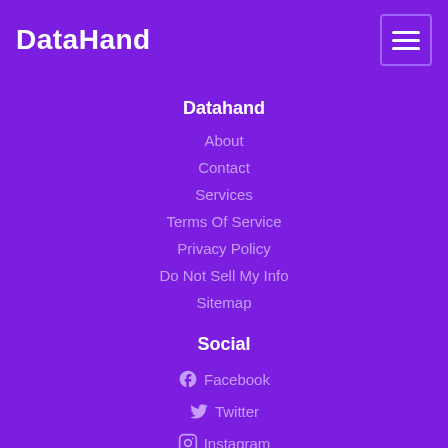DataHand
Datahand
About
Contact
Services
Terms Of Service
Privacy Policy
Do Not Sell My Info
Sitemap
Social
Facebook
Twitter
Instagram
Subscribe to our news
Stay in touch with what's important. Enter your email address below to subscribe.